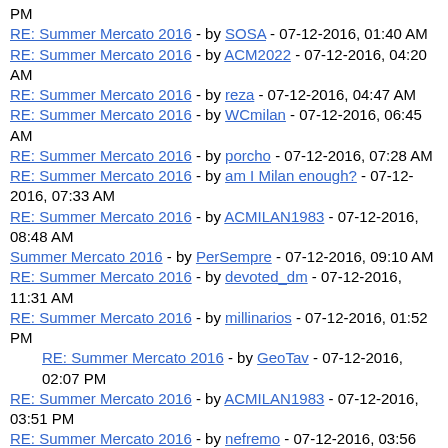PM
RE: Summer Mercato 2016 - by SOSA - 07-12-2016, 01:40 AM
RE: Summer Mercato 2016 - by ACM2022 - 07-12-2016, 04:20 AM
RE: Summer Mercato 2016 - by reza - 07-12-2016, 04:47 AM
RE: Summer Mercato 2016 - by WCmilan - 07-12-2016, 06:45 AM
RE: Summer Mercato 2016 - by porcho - 07-12-2016, 07:28 AM
RE: Summer Mercato 2016 - by am I Milan enough? - 07-12-2016, 07:33 AM
RE: Summer Mercato 2016 - by ACMILAN1983 - 07-12-2016, 08:48 AM
Summer Mercato 2016 - by PerSempre - 07-12-2016, 09:10 AM
RE: Summer Mercato 2016 - by devoted_dm - 07-12-2016, 11:31 AM
RE: Summer Mercato 2016 - by millinarios - 07-12-2016, 01:52 PM
RE: Summer Mercato 2016 - by GeoTav - 07-12-2016, 02:07 PM
RE: Summer Mercato 2016 - by ACMILAN1983 - 07-12-2016, 03:51 PM
RE: Summer Mercato 2016 - by nefremo - 07-12-2016, 03:56